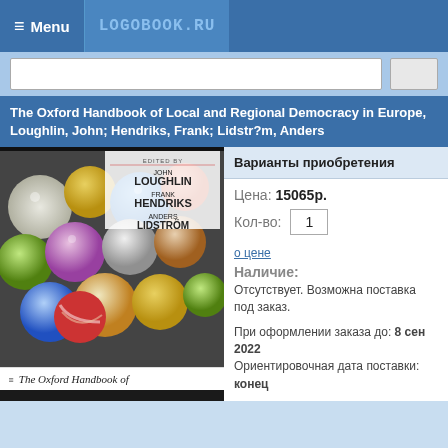≡ Menu  LOGOBOOK.RU
The Oxford Handbook of Local and Regional Democracy in Europe, Loughlin, John; Hendriks, Frank; Lidstr?m, Anders
[Figure (photo): Book cover of The Oxford Handbook of Local and Regional Democracy in Europe, featuring colorful glass marbles on the cover, with editors John Loughlin, Frank Hendriks, Anders Lidström listed.]
Варианты приобретения
Цена: 15065р.
Кол-во: 1
о цене
Наличие:
Отсутствует. Возможна поставка под заказ.
При оформлении заказа до: 8 сен 2022 Ориентировочная дата поставки: конец